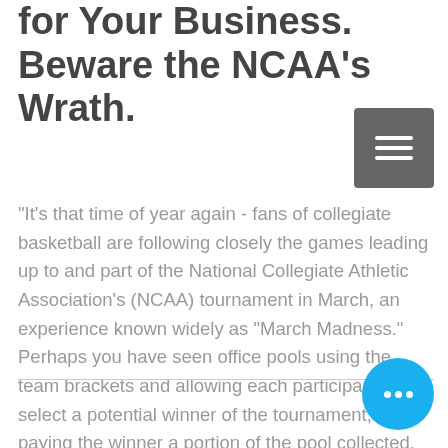for Your Business. Beware the NCAA's Wrath.
"It's that time of year again - fans of collegiate basketball are following closely the games leading up to and part of the National Collegiate Athletic Association's (NCAA) tournament in March, an experience known widely as “March Madness.” Perhaps you have seen office pools using the team brackets and allowing each participant to select a potential winner of the tournament, then paying the winner a portion of the pool collected. Perhaps you have observed companies get into